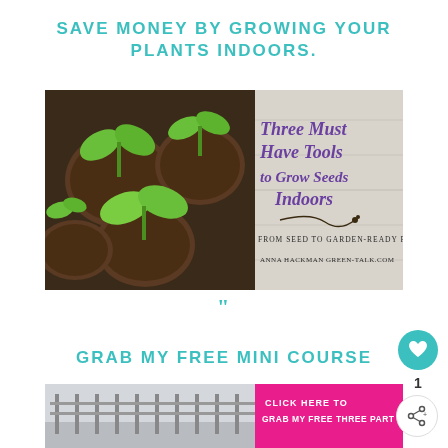SAVE MONEY BY GROWING YOUR PLANTS INDOORS.
[Figure (illustration): Promotional image showing seedlings growing in peat pots with text 'Three Must Have Tools to Grow Seeds Indoors' and subtitle 'From Seed to Garden-Ready Plants', 'Anna Hackman Green-Talk.com']
"
GRAB MY FREE MINI COURSE
[Figure (illustration): Bottom banner image with a garden/greenhouse scene on the left and a pink call-to-action panel on the right reading 'CLICK HERE TO GRAB MY FREE THREE PART']